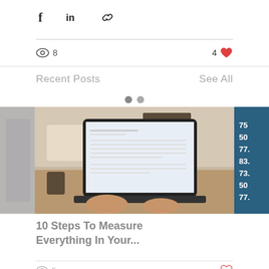[Figure (screenshot): Social share icons: Facebook (f), LinkedIn (in), and link/chain icon]
8 views, 4 likes
Recent Posts
See All
[Figure (photo): Photo of person typing on a laptop showing a spreadsheet/data interface, with partial images cropped on left and right]
10 Steps To Measure Everything In Your...
5 views, heart icon (likes)